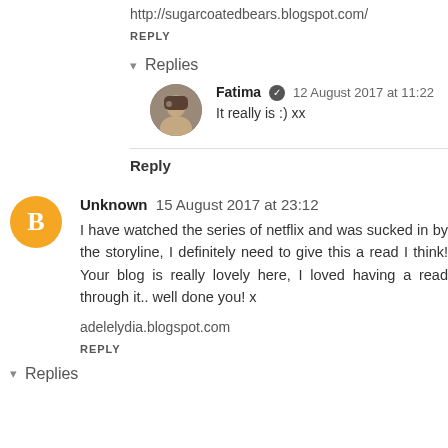http://sugarcoatedbears.blogspot.com/
REPLY
Replies
Fatima  12 August 2017 at 11:22
It really is :) xx
Reply
Unknown  15 August 2017 at 23:12
I have watched the series of netflix and was sucked in by the storyline, I definitely need to give this a read I think! Your blog is really lovely here, I loved having a read through it.. well done you! x
adelelydia.blogspot.com
REPLY
Replies